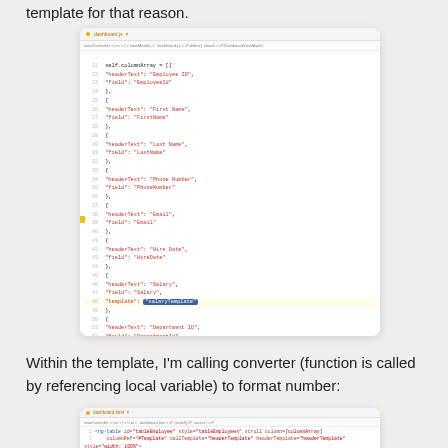template for that reason.
[Figure (screenshot): Code editor screenshot showing JavaScript code with columnArray definition including headerText and field properties for EmployeeId, First Name, Last Name, Phone Number, Email, Hire Date, Salary (with template: 'salaryTemplate' highlighted), and Department Id fields. Line 48 is highlighted with a yellow bullet.]
Within the template, I'm calling converter (function is called by referencing local variable) to format number:
[Figure (screenshot): Code editor screenshot showing HTML template code with ng-table, column definitions including callTemplate, headerTemplate, and ng-template directives.]